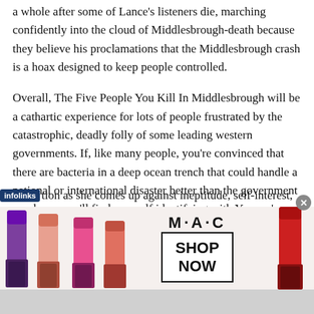a whole after some of Lance's listeners die, marching confidently into the cloud of Middlesbrough-death because they believe his proclamations that the Middlesbrough crash is a hoax designed to keep people controlled.
Overall, The Five People You Kill In Middlesbrough will be a cathartic experience for lots of people frustrated by the catastrophic, deadly folly of some leading western governments. If, like many people, you're convinced that there are bacteria in a deep ocean trench that could handle a national or international disaster better than the government you have, you'll find yourself identifying with Yvonne's
tion as she comes up against ineptitude, self-interest,
[Figure (photo): MAC cosmetics advertisement banner showing lipsticks on left and right, MAC logo in center, and SHOP NOW button in a box. Close button (x) in top right corner.]